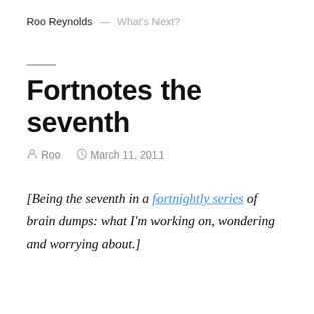Roo Reynolds — What's Next?
Fortnotes the seventh
Roo   March 11, 2011
[Being the seventh in a fortnightly series of brain dumps: what I'm working on, wondering and worrying about.]